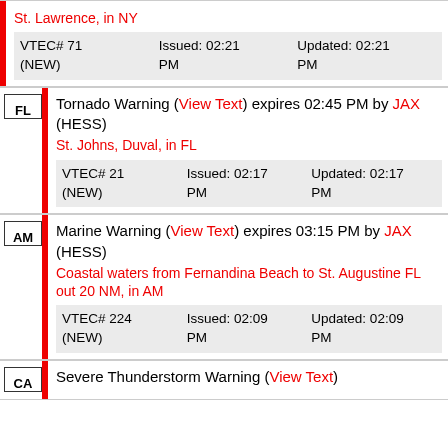St. Lawrence, in NY — VTEC# 71 (NEW) Issued: 02:21 PM Updated: 02:21 PM
Tornado Warning (View Text) expires 02:45 PM by JAX (HESS) — St. Johns, Duval, in FL — VTEC# 21 (NEW) Issued: 02:17 PM Updated: 02:17 PM
Marine Warning (View Text) expires 03:15 PM by JAX (HESS) — Coastal waters from Fernandina Beach to St. Augustine FL out 20 NM, in AM — VTEC# 224 (NEW) Issued: 02:09 PM Updated: 02:09 PM
Severe Thunderstorm Warning (View Text) — CA